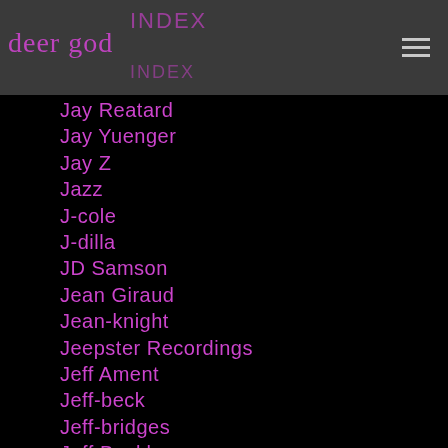deer god
Jay Reatard
Jay Yuenger
Jay Z
Jazz
J-cole
J-dilla
JD Samson
Jean Giraud
Jean-knight
Jeepster Recordings
Jeff Ament
Jeff-beck
Jeff-bridges
Jeff Buckley
Jeff Grosso
Jello Biafra
Jemaine-clement